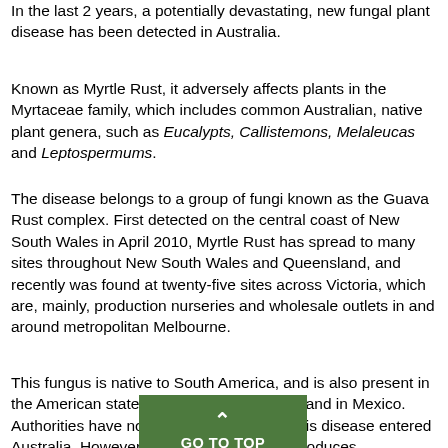In the last 2 years, a potentially devastating, new fungal plant disease has been detected in Australia.
Known as Myrtle Rust, it adversely affects plants in the Myrtaceae family, which includes common Australian, native plant genera, such as Eucalypts, Callistemons, Melaleucas and Leptospermums.
The disease belongs to a group of fungi known as the Guava Rust complex. First detected on the central coast of New South Wales in April 2010, Myrtle Rust has spread to many sites throughout New South Wales and Queensland, and recently was found at twenty-five sites across Victoria, which are, mainly, production nurseries and wholesale outlets in and around metropolitan Melbourne.
This fungus is native to South America, and is also present in the American states of Florida and Hawaii, and in Mexico. Authorities have not yet established how this disease entered Australia. However, because rust fungus produces microscopic spores, which are easily carried by wind currents, on peoples clothing, on plants or on goods that are shipped around the world, many possibilities need to be considered.
The fungus produces lesions on some of the young leaves, shoot tips, young stems, flowering buds and flowers. These lesions, which have red-purple tones, develop masses of orange to yellow powdery
[Figure (other): Green GO TO TOP button with upward chevron arrow, overlaying the text content]